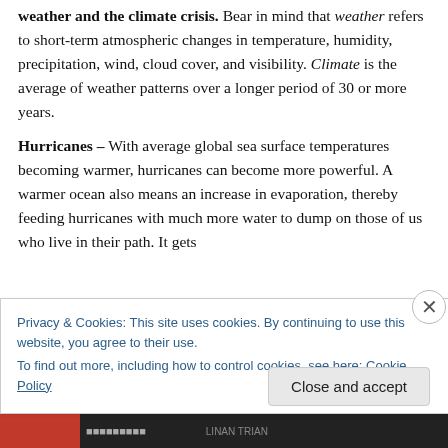weather and the climate crisis. Bear in mind that weather refers to short-term atmospheric changes in temperature, humidity, precipitation, wind, cloud cover, and visibility. Climate is the average of weather patterns over a longer period of 30 or more years.
Hurricanes – With average global sea surface temperatures becoming warmer, hurricanes can become more powerful. A warmer ocean also means an increase in evaporation, thereby feeding hurricanes with much more water to dump on those of us who live in their path. It gets
Privacy & Cookies: This site uses cookies. By continuing to use this website, you agree to their use.
To find out more, including how to control cookies, see here: Cookie Policy
Close and accept